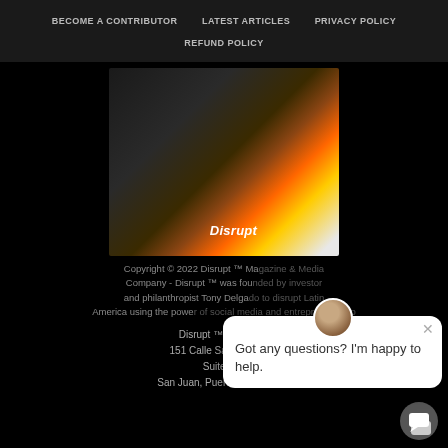BECOME A CONTRIBUTOR   LATEST ARTICLES   PRIVACY POLICY   REFUND POLICY
[Figure (photo): Man with fire effects wearing a black cap and shirt with 'Disrupt' text, dramatic fire and smoke effects around him]
Copyright © 2022 Disrupt ™ Ma[gazine] Company - Disrupt ™ was fou[nded by] and philanthropist Tony Delga[do] America using the powe[r of social media and entrepreneurship]
Disrupt ™ Magazine
151 Calle San Francisco
Suite 200
San Juan, Puerto Rico, 00901
Got any questions? I'm happy to help.